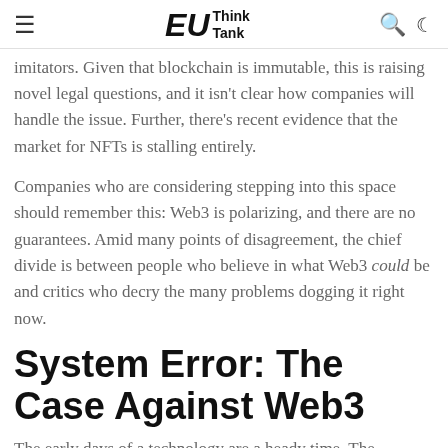EU Think Tank
imitators. Given that blockchain is immutable, this is raising novel legal questions, and it isn't clear how companies will handle the issue. Further, there's recent evidence that the market for NFTs is stalling entirely.
Companies who are considering stepping into this space should remember this: Web3 is polarizing, and there are no guarantees. Amid many points of disagreement, the chief divide is between people who believe in what Web3 could be and critics who decry the many problems dogging it right now.
System Error: The Case Against Web3
The early days of a technology are a heady time. The